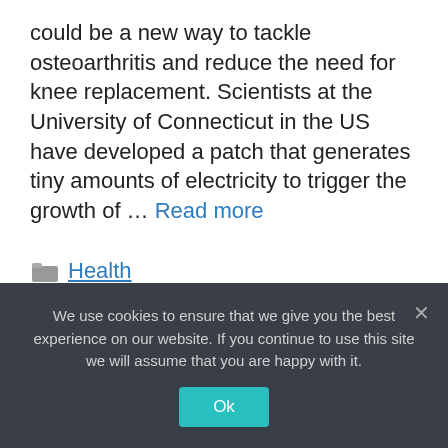could be a new way to tackle osteoarthritis and reduce the need for knee replacement. Scientists at the University of Connecticut in the US have developed a patch that generates tiny amounts of electricity to trigger the growth of … Read more
Health
Leave a comment
We use cookies to ensure that we give you the best experience on our website. If you continue to use this site we will assume that you are happy with it.